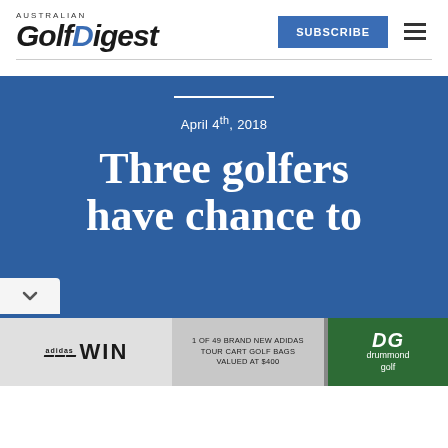AUSTRALIAN Golf Digest — SUBSCRIBE
Three golfers have chance to
April 4th, 2018
[Figure (illustration): Advertisement banner: WIN 1 of 49 brand new Adidas Tour Cart Golf Bags valued at $400, with Drummond Golf logo]